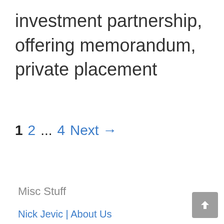investment partnership, offering memorandum, private placement
1  2  ...  4  Next →
Misc Stuff
Nick Jevic | About Us
Testimonials
Contact Us
Terms of Service
Legal Disclaimer